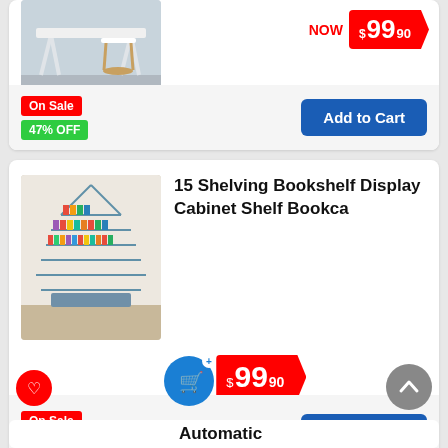[Figure (photo): Partial view of a white desk and chair product photo]
NOW $99.90
On Sale
47% OFF
Add to Cart
[Figure (photo): Tree-shaped bookshelf filled with colorful books]
15 Shelving Bookshelf Display Cabinet Shelf Bookca
NOW $99.90
On Sale
60% OFF
Add to Cart
Automatic